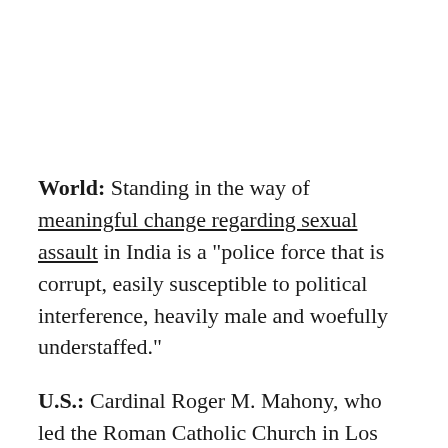World: Standing in the way of meaningful change regarding sexual assault in India is a "police force that is corrupt, easily susceptible to political interference, heavily male and woefully understaffed."
U.S.: Cardinal Roger M. Mahony, who led the Roman Catholic Church in Los Angeles, is now in an "unwelcome spotlight" as internal personnel files reveal his role in protecting priests accused of